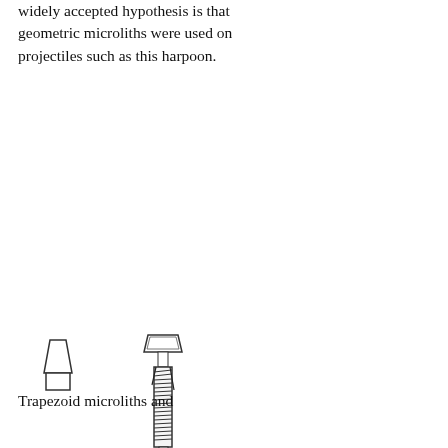widely accepted hypothesis is that geometric microliths were used on projectiles such as this harpoon.
[Figure (illustration): Line drawings of three trapezoid microliths (stone tools) on the left, and a detailed illustration of a harpoon shaft on the right. The harpoon has a wrapped/bound upper section and a long wooden shaft with texture markings.]
Trapezoid microliths and